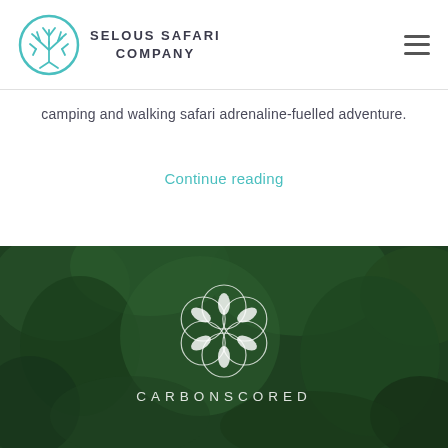[Figure (logo): Selous Safari Company logo: teal circular tree icon with SELOUS SAFARI COMPANY text]
camping and walking safari adrenaline-fuelled adventure.
Continue reading
[Figure (photo): Dark green forest background with CARBONSCORED logo — white overlapping circles with leaf shapes and the text CARBONSCORED in white capital letters]